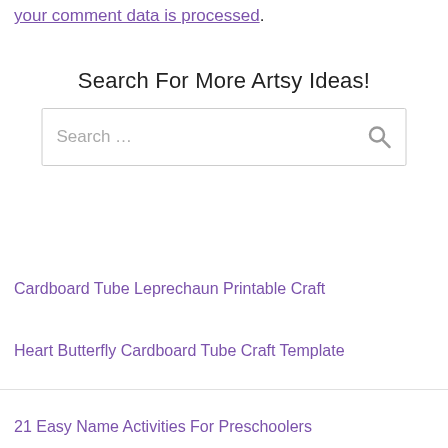your comment data is processed.
Search For More Artsy Ideas!
Search …
Cardboard Tube Leprechaun Printable Craft
Heart Butterfly Cardboard Tube Craft Template
21 Easy Name Activities For Preschoolers